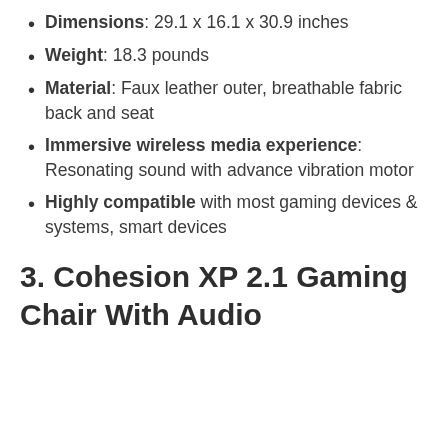Dimensions: 29.1 x 16.1 x 30.9 inches
Weight: 18.3 pounds
Material: Faux leather outer, breathable fabric back and seat
Immersive wireless media experience: Resonating sound with advance vibration motor
Highly compatible with most gaming devices & systems, smart devices
3. Cohesion XP 2.1 Gaming Chair With Audio